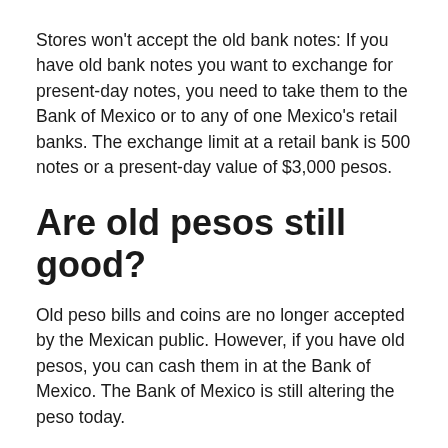Stores won't accept the old bank notes: If you have old bank notes you want to exchange for present-day notes, you need to take them to the Bank of Mexico or to any of one Mexico's retail banks. The exchange limit at a retail bank is 500 notes or a present-day value of $3,000 pesos.
Are old pesos still good?
Old peso bills and coins are no longer accepted by the Mexican public. However, if you have old pesos, you can cash them in at the Bank of Mexico. The Bank of Mexico is still altering the peso today.